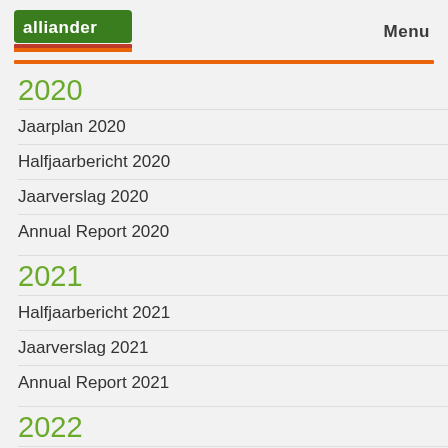alliander | Menu
2020
Jaarplan 2020
Halfjaarbericht 2020
Jaarverslag 2020
Annual Report 2020
2021
Halfjaarbericht 2021
Jaarverslag 2021
Annual Report 2021
2022
Halfjaarbericht 2022